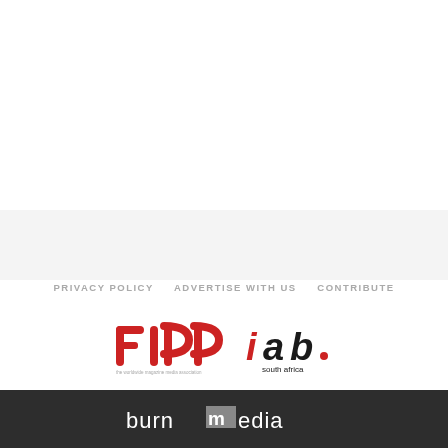PRIVACY POLICY   ADVERTISE WITH US   CONTRIBUTE
[Figure (logo): FIPP - the worldwide magazine media association logo (red)]
[Figure (logo): IAB South Africa logo (red and black)]
[Figure (logo): burn media logo (white text on dark background)]